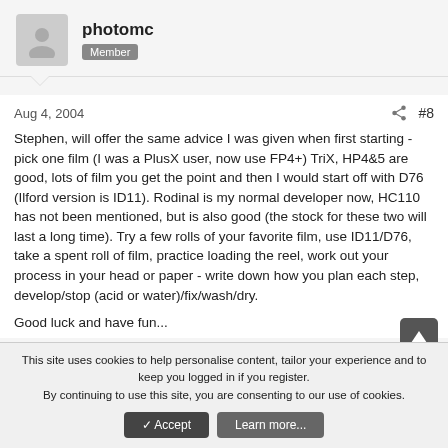[Figure (illustration): User avatar placeholder icon and username 'photomc' with Member badge]
Aug 4, 2004   #8
Stephen, will offer the same advice I was given when first starting - pick one film (I was a PlusX user, now use FP4+) TriX, HP4&5 are good, lots of film you get the point and then I would start off with D76 (Ilford version is ID11). Rodinal is my normal developer now, HC110 has not been mentioned, but is also good (the stock for these two will last a long time). Try a few rolls of your favorite film, use ID11/D76, take a spent roll of film, practice loading the reel, work out your process in your head or paper - write down how you plan each step, develop/stop (acid or water)/fix/wash/dry.
Good luck and have fun...
This site uses cookies to help personalise content, tailor your experience and to keep you logged in if you register.
By continuing to use this site, you are consenting to our use of cookies.